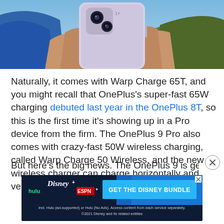[Figure (photo): Hands holding a OnePlus smartphone (back view showing camera) against a blue background. Person wearing blue and olive/green clothing.]
Naturally, it comes with Warp Charge 65T, and you might recall that OnePlus's super-fast 65W charging debuted last year in the OnePlus 8T, so this is the first time it's showing up in a Pro device from the firm. The OnePlus 9 Pro also comes with crazy-fast 50W wireless charging, called Warp Charge 50 Wireless, and the new wireless charger can charge horizontally and vertically thanks to a second charging coil.
But here's the big news. The OnePlus 9 is getting
[Figure (screenshot): Disney Bundle advertisement banner. Shows Hulu, Disney+, and ESPN+ logos on dark blue background with 'GET THE DISNEY BUNDLE' call-to-action button in light blue. Fine print reads: Incl. Hulu (ad-supported) or Hulu (No Ads). Access content from each service separately. ©2021 Disney and its related entities]